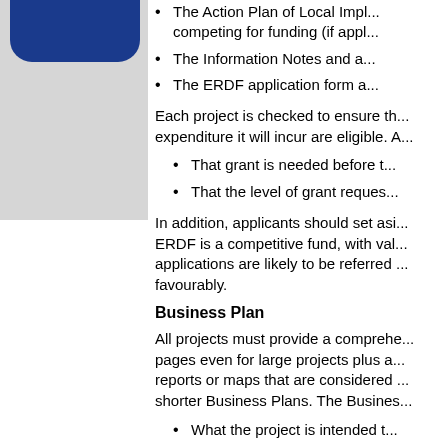The Action Plan of Local Implementation competing for funding (if applicable)
The Information Notes and associated documents
The ERDF application form and guidance
Each project is checked to ensure that the expenditure it will incur are eligible. A
That grant is needed before the project
That the level of grant requested
In addition, applicants should set aside... ERDF is a competitive fund, with value... applications are likely to be referred... favourably.
Business Plan
All projects must provide a comprehensive Business Plan... pages even for large projects plus any reports or maps that are considered... shorter Business Plans. The Business Plan should cover:
What the project is intended to
Why it is necessary and not